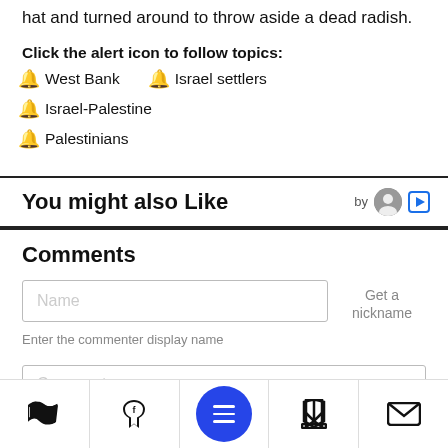hat and turned around to throw aside a dead radish.
Click the alert icon to follow topics:
West Bank
Israel settlers
Israel-Palestine
Palestinians
You might also Like
Comments
Name
Get a nickname
Enter the commenter display name
Comment